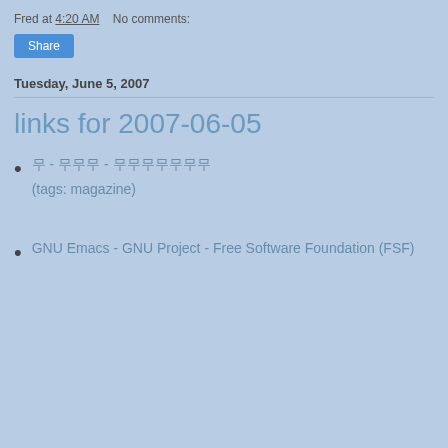Fred at 4:20 AM    No comments:
Share
Tuesday, June 5, 2007
links for 2007-06-05
무 - 무무무 - 무무무무무무무
(tags: magazine)
GNU Emacs - GNU Project - Free Software Foundation (FSF)